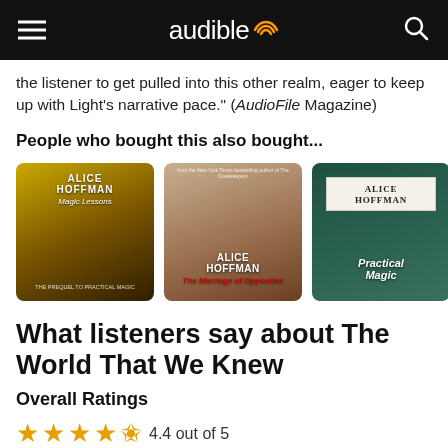audible
the listener to get pulled into this other realm, eager to keep up with Light's narrative pace." (AudioFile Magazine)
People who bought this also bought...
[Figure (photo): Three audiobook covers by Alice Hoffman: Magic Lessons, The Marriage of Opposites, and Practical Magic, plus a partial fourth cover, displayed in a horizontal row.]
What listeners say about The World That We Knew
Overall Ratings
4.4 out of 5